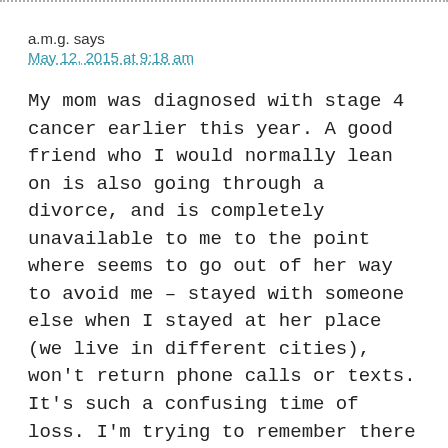a.m.g. says
May 12, 2015 at 9:18 am
My mom was diagnosed with stage 4 cancer earlier this year. A good friend who I would normally lean on is also going through a divorce, and is completely unavailable to me to the point where seems to go out of her way to avoid me – stayed with someone else when I stayed at her place (we live in different cities), won't return phone calls or texts. It's such a confusing time of loss. I'm trying to remember there is a lesson (although I have no idea what it is), to be